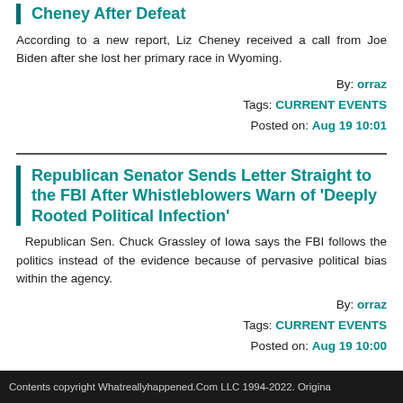Cheney After Defeat
According to a new report, Liz Cheney received a call from Joe Biden after she lost her primary race in Wyoming.
By: orraz
Tags: CURRENT EVENTS
Posted on: Aug 19 10:01
Republican Senator Sends Letter Straight to the FBI After Whistleblowers Warn of 'Deeply Rooted Political Infection'
Republican Sen. Chuck Grassley of Iowa says the FBI follows the politics instead of the evidence because of pervasive political bias within the agency.
By: orraz
Tags: CURRENT EVENTS
Posted on: Aug 19 10:00
Contents copyright Whatreallyhappened.Com LLC 1994-2022. Origina